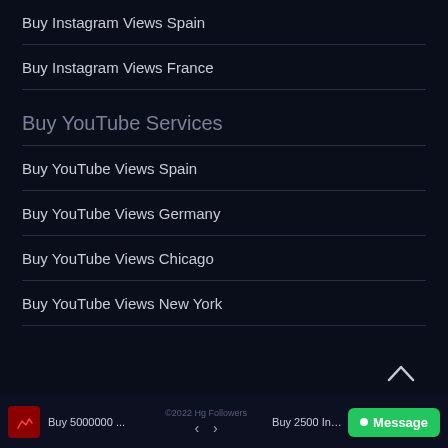Buy Instagram Views Spain
Buy Instagram Views France
Buy YouTube Services
Buy YouTube Views Spain
Buy YouTube Views Germany
Buy YouTube Views Chicago
Buy YouTube Views New York
©2022 Hg Followers   Buy 5000000 ...   Buy 2500 Inst...   Message